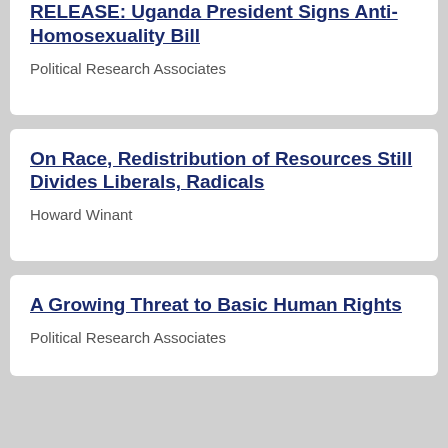RELEASE: Uganda President Signs Anti-Homosexuality Bill
Political Research Associates
On Race, Redistribution of Resources Still Divides Liberals, Radicals
Howard Winant
A Growing Threat to Basic Human Rights
Political Research Associates